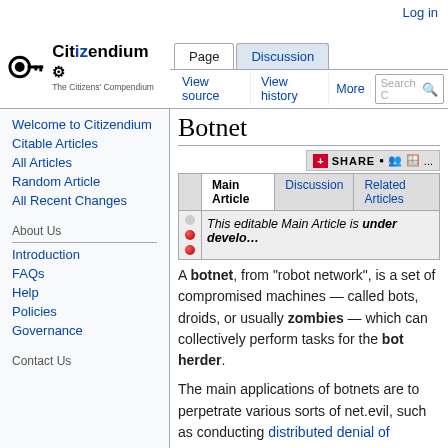Log in
[Figure (logo): Citizendium logo with key icon and tagline 'The Citizens' Compendium']
Page | Discussion | View source | View history | More | Search
Botnet
|  | Main Article | Discussion | Related Articles |
| --- | --- | --- | --- |
|  | This editable Main Article is under develo... |  |  |
A botnet, from "robot network", is a set of compromised machines — called bots, droids, or usually zombies — which can collectively perform tasks for the bot herder.
The main applications of botnets are to perpetrate various sorts of net.evil, such as conducting distributed denial of
Welcome to Citizendium
Citable Articles
All Articles
Random Article
All Recent Changes
About Us
Introduction
FAQs
Help
Policies
Governance
Contact Us